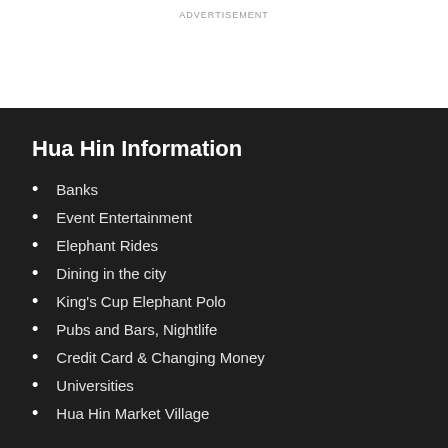ADVERTISEMENT
Hua Hin Information
Banks
Event Entertainment
Elephant Rides
Dining in the city
King's Cup Elephant Polo
Pubs and Bars, Nightlife
Credit Card & Changing Money
Universities
Hua Hin Market Village